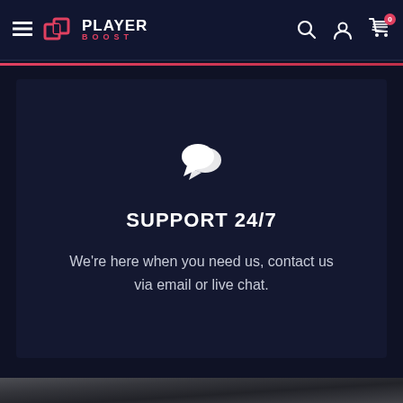PlayerBoost - Navigation bar with logo, search, account, and cart icons
[Figure (illustration): Chat/support icon - two overlapping speech bubbles in white]
SUPPORT 24/7
We're here when you need us, contact us via email or live chat.
[Figure (photo): Bottom partial image strip showing dark background]